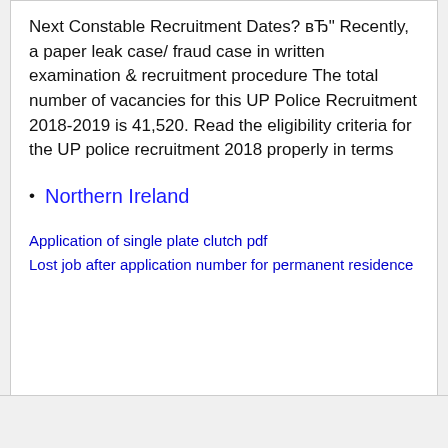Next Constable Recruitment Dates? вЂ" Recently, a paper leak case/ fraud case in written examination & recruitment procedure The total number of vacancies for this UP Police Recruitment 2018-2019 is 41,520. Read the eligibility criteria for the UP police recruitment 2018 properly in terms
Northern Ireland
Application of single plate clutch pdf
Lost job after application number for permanent residence